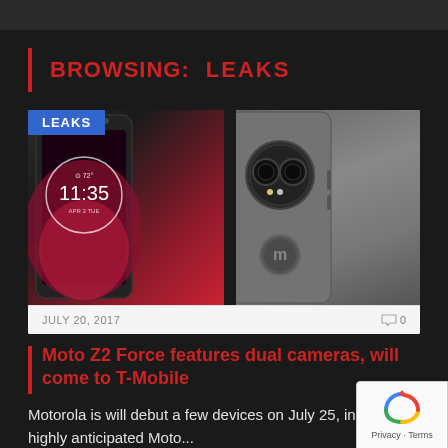BROWSING: LEAKS
[Figure (photo): Two Moto Z2 Force smartphones shown side by side — left showing front screen with clock reading 11:35, right showing back with dual camera module and Motorola logo]
JULY 20, 2017   0
Moto Z2 Force features dual cameras, will come to T-Mobile
Motorola is will debut a few devices on July 25, including highly anticipated Moto...